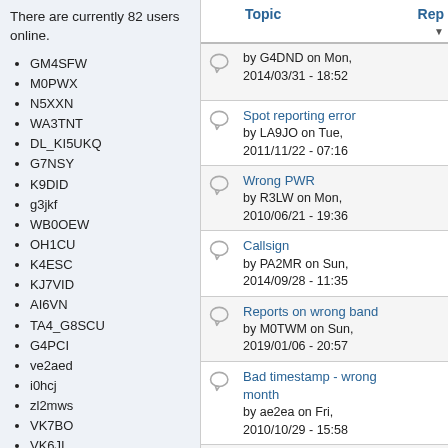There are currently 82 users online.
GM4SFW
M0PWX
N5XXN
WA3TNT
DL_KI5UKQ
G7NSY
K9DID
g3jkf
WB0OEW
OH1CU
K4ESC
KJ7VID
AI6VN
TA4_G8SCU
G4PCI
ve2aed
i0hcj
zl2mws
VK7BO
VK6JI
G0LUJ
f6abj
PA0O
nd0pba
|  | Topic | Rep |
| --- | --- | --- |
|  | by G4DND on Mon, 2014/03/31 - 18:52 |  |
|  | Spot reporting error
by LA9JO on Tue, 2011/11/22 - 07:16 |  |
|  | Wrong PWR
by R3LW on Mon, 2010/06/21 - 19:36 |  |
|  | Callsign
by PA2MR on Sun, 2014/09/28 - 11:35 |  |
|  | Reports on wrong band
by M0TWM on Sun, 2019/01/06 - 20:57 |  |
|  | Bad timestamp - wrong month
by ae2ea on Fri, 2010/10/29 - 15:58 |  |
|  | Living on the edge
by OZ2M on Wed, 2020/04/22 - 09:20 |  |